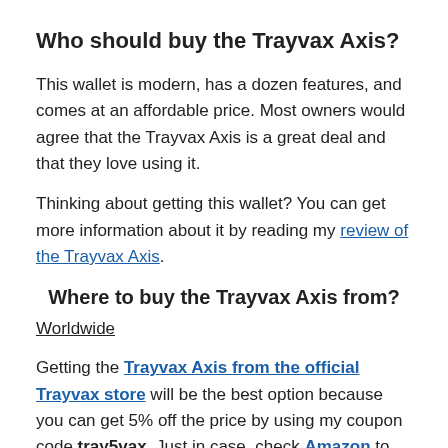Who should buy the Trayvax Axis?
This wallet is modern, has a dozen features, and comes at an affordable price. Most owners would agree that the Trayvax Axis is a great deal and that they love using it.
Thinking about getting this wallet? You can get more information about it by reading my review of the Trayvax Axis.
Where to buy the Trayvax Axis from?
Worldwide
Getting the Trayvax Axis from the official Trayvax store will be the best option because you can get 5% off the price by using my coupon code tray5vax. Just in case, check Amazon to compare the prices.